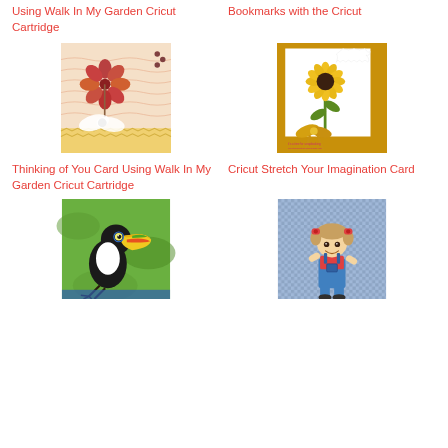Using Walk In My Garden Cricut Cartridge
Bookmarks with the Cricut
[Figure (photo): Handmade flower card with a paper pinwheel flower and white bow ribbon on striped patterned paper background.]
[Figure (photo): Handmade sunflower card with yellow ribbon bow, lace border, and golden yellow card stock.]
Thinking of You Card Using Walk In My Garden Cricut Cartridge
Cricut Stretch Your Imagination Card
[Figure (photo): Handmade card featuring a toucan bird on a green background.]
[Figure (photo): Handmade card featuring a cartoon girl character on a gingham/checkered blue background.]